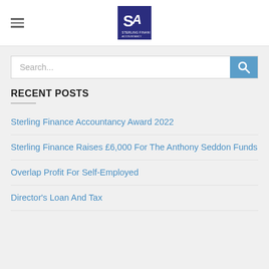Sterling Finance Accountancy – logo and navigation
Search...
RECENT POSTS
Sterling Finance Accountancy Award 2022
Sterling Finance Raises £6,000 For The Anthony Seddon Funds
Overlap Profit For Self-Employed
Director's Loan And Tax